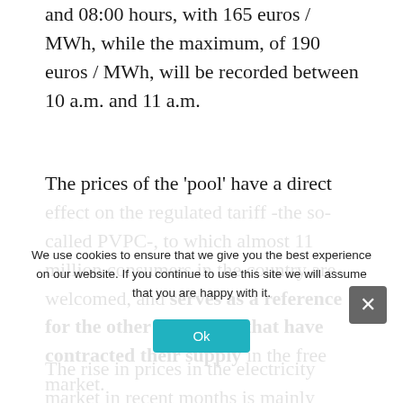and 08:00 hours, with 165 euros / MWh, while the maximum, of 190 euros / MWh, will be recorded between 10 a.m. and 11 a.m.
The prices of the 'pool' have a direct effect on the regulated tariff -the so-called PVPC-, to which almost 11 million consumers in the country are welcomed, and serves as a reference for the other 17 million that have contracted their supply in the free market.
The rise in prices in the electricity market in recent months is mainly explained by high gas prices, the price of emission rights, at record highs this year.
We use cookies to ensure that we give you the best experience on our website. If you continue to use this site we will assume that you are happy with it.